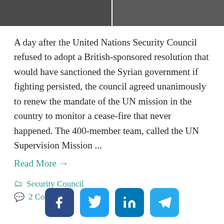[Figure (photo): Two figures in dark jackets photographed from neck down, side by side, cropped at top of page]
A day after the United Nations Security Council refused to adopt a British-sponsored resolution that would have sanctioned the Syrian government if fighting persisted, the council agreed unanimously to renew the mandate of the UN mission in the country to monitor a cease-fire that never happened. The 400-member team, called the UN Supervision Mission ...
Read More →
Security Council
2 Comments
[Figure (infographic): Social media share buttons: Facebook, Twitter, LinkedIn, Telegram]